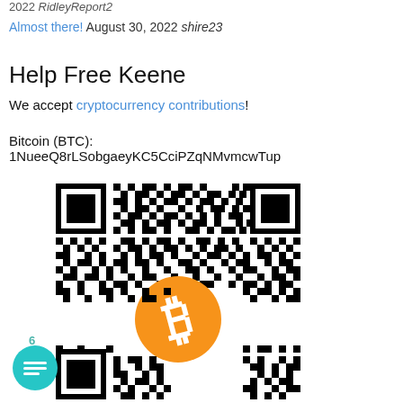2022 RidleyReport2
Almost there! August 30, 2022 shire23
Help Free Keene
We accept cryptocurrency contributions!
Bitcoin (BTC):
1NueeQ8rLSobgaeyKC5CciPZqNMvmcwTup
[Figure (other): Bitcoin QR code with orange Bitcoin logo in the center, black and white QR code pattern for Bitcoin address 1NueeQ8rLSobgaeyKC5CciPZqNMvmcwTup]